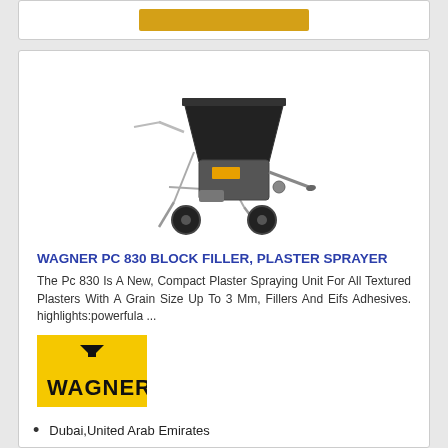[Figure (photo): Yellow button/banner at top of a product card]
[Figure (photo): Wagner PC 830 Block Filler Plaster Sprayer - a wheeled plaster spraying machine with a large black hopper, metal frame, and two large wheels]
WAGNER PC 830 BLOCK FILLER, PLASTER SPRAYER
The Pc 830 Is A New, Compact Plaster Spraying Unit For All Textured Plasters With A Grain Size Up To 3 Mm, Fillers And Eifs Adhesives. highlights:powerfula ...
[Figure (logo): Wagner brand logo - black text WAGNER with triangle/arrow symbol on yellow background]
Dubai,United Arab Emirates
[Figure (other): Yellow button at bottom of card]